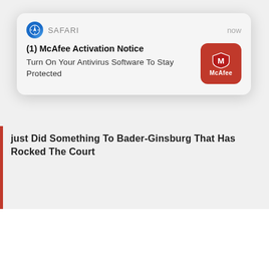[Figure (screenshot): A mobile browser screenshot showing a McAfee Activation Notice push notification from Safari overlaid on a webpage. The notification reads '(1) McAfee Activation Notice' with subtext 'Turn On Your Antivirus Software To Stay Protected'. Below the notification is partial webpage content with text 'just Did Something To Bader-Ginsburg That Has Rocked The Court', green hyperlinks ('Clear', 'Download audio from youtube', 'Term'), an 'infolinks' logo, and a MyBookie MLB SZN sports betting advertisement banner. A 'Promoted x' label appears over the ad, and a grey close button appears at the bottom right.]